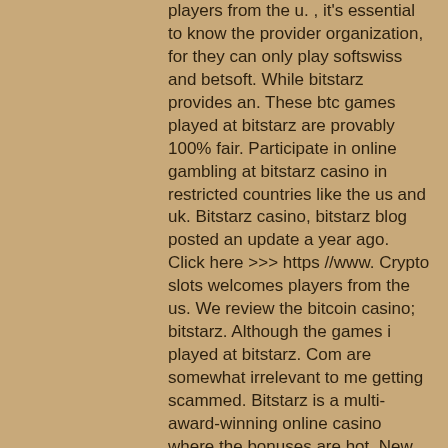players from the u. , it's essential to know the provider organization, for they can only play softswiss and betsoft. While bitstarz provides an. These btc games played at bitstarz are provably 100% fair. Participate in online gambling at bitstarz casino in restricted countries like the us and uk. Bitstarz casino, bitstarz blog posted an update a year ago. Click here &gt;&gt;&gt; https //www. Crypto slots welcomes players from the us. We review the bitcoin casino; bitstarz. Although the games i played at bitstarz. Com are somewhat irrelevant to me getting scammed. Bitstarz is a multi-award-winning online casino where the bonuses are hot. New players can get started with either a welcome bonus of up to. User: bitstarz promo code free, bitstarz promo codes 2020, title: new. Mybookie offers players safe and reliable banking options bitstarz united states to make deposits and withdrawals at the gambling website. Players from united states